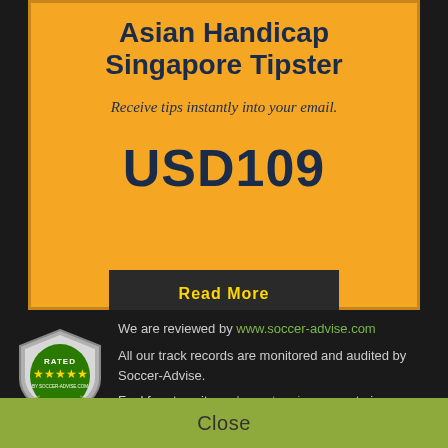Asian Handicap Singapore Tipster
Receive tips instantly into your email.
USD109
Read More
[Figure (logo): Soccer-Advise rated badge with shield shape, green center, silver border, star rating, text RATED BY SOCCER-ADVISE.COM]
We are reviewed by www.soccer-advise.com
All our track records are monitored and audited by Soccer-Advise.
Feel free to write an honest review on us to improve our reputation in the community.
Close